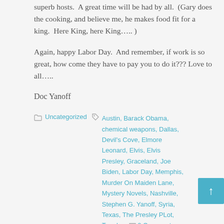superb hosts.  A great time will be had by all.  (Gary does the cooking, and believe me, he makes food fit for a king.  Here King, here King….. )
Again, happy Labor Day.  And remember, if work is so great, how come they have to pay you to do it??? Love to all…..
Doc Yanoff
Uncategorized  Austin, Barack Obama, chemical weapons, Dallas, Devil's Cove, Elmore Leonard, Elvis, Elvis Presley, Graceland, Joe Biden, Labor Day, Memphis, Murder On Maiden Lane, Mystery Novels, Nashville, Stephen G. Yanoff, Syria, Texas, The Presley PLot, Tupelo  0 Comments